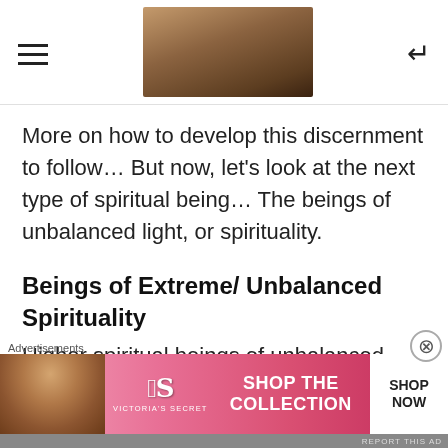[hamburger menu icon] [header image] [back icon]
More on how to develop this discernment to follow… But now, let's look at the next type of spiritual being… The beings of unbalanced light, or spirituality.
Beings of Extreme/ Unbalanced Spirituality
Higher spiritual beings of unbalanced spirituality are known in Rosicrucian teachings as the Luciferic beings. Yes, these
Advertisements
[Figure (photo): Victoria's Secret advertisement banner showing a model and text SHOP THE COLLECTION with SHOP NOW button]